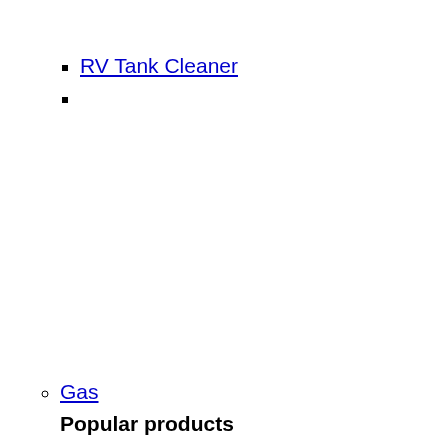RV Tank Cleaner
Gas
Popular products